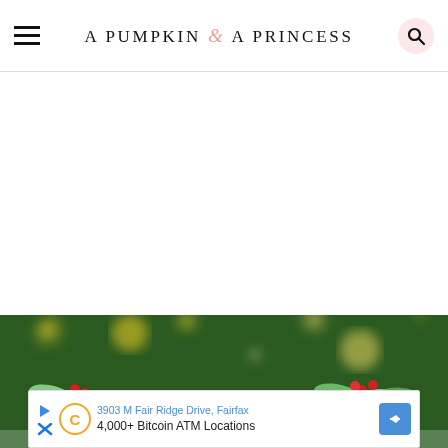A PUMPKIN & A PRINCESS
[Figure (photo): Close-up photo of Christmas tree decorations — frosted holly leaves with red berries, against a blurred bokeh background of warm golden yellow lights and evergreen foliage.]
3903 M Fair Ridge Drive, Fairfax
4,000+ Bitcoin ATM Locations